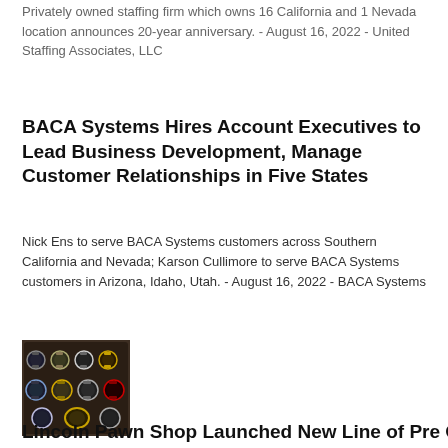Privately owned staffing firm which owns 16 California and 1 Nevada location announces 20-year anniversary. - August 16, 2022 - United Staffing Associates, LLC
BACA Systems Hires Account Executives to Lead Business Development, Manage Customer Relationships in Five States
Nick Ens to serve BACA Systems customers across Southern California and Nevada; Karson Cullimore to serve BACA Systems customers in Arizona, Idaho, Utah. - August 16, 2022 - BACA Systems
[Figure (photo): A collection of watches arranged on a dark display surface, showing various styles including dress watches and sport watches in gold and silver tones.]
Lincoln Pawn Shop Launched New Line of Pre Owned